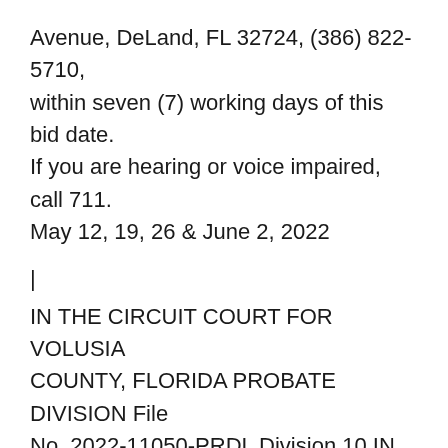Avenue, DeLand, FL 32724, (386) 822-5710, within seven (7) working days of this bid date. If you are hearing or voice impaired, call 711. May 12, 19, 26 & June 2, 2022
|
IN THE CIRCUIT COURT FOR VOLUSIA COUNTY, FLORIDA PROBATE DIVISION File No. 2022-11050-PRDL Division 10 IN RE: ESTATE OF JASON LOUNSBURY Deceased. NOTICE TO CREDITORS The administration of the estate of JASON LOUNSBURY, deceased,